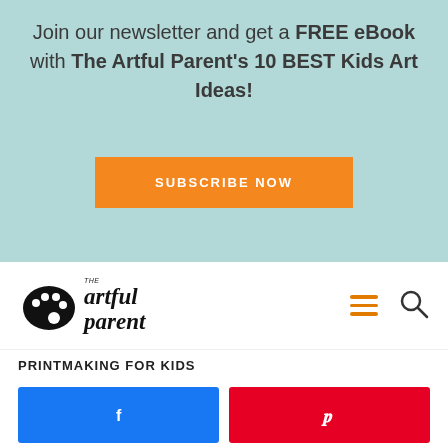Join our newsletter and get a FREE eBook with The Artful Parent's 10 BEST Kids Art Ideas!
SUBSCRIBE NOW
[Figure (logo): The Artful Parent logo with paint palette icon and italic handwritten-style text]
[Figure (infographic): Hamburger menu icon (three orange lines) and magnifying glass search icon]
PRINTMAKING FOR KIDS
[Figure (infographic): Facebook share button (blue) and Pinterest share button (red) with respective social media icons]